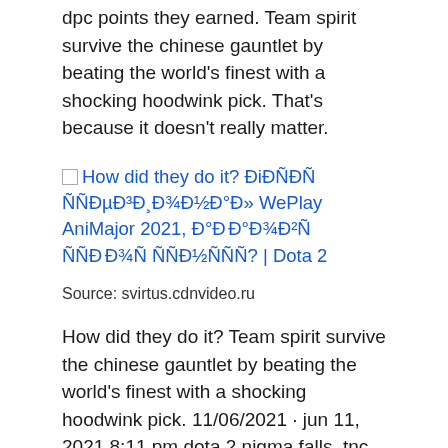dpc points they earned. Team spirit survive the chinese gauntlet by beating the world's finest with a shocking hoodwink pick. That's because it doesn't really matter.
[Figure (other): Broken image placeholder with linked text: How did they do it? ÐiÐÑÐÑ ÑÑÐµÐ³Ð¸Ð¾Ð½Ð°Ð» WePlay AniMajor 2021, Ð°Ð Ð°Ð¾Ð²Ñ ÑÑÐ Ð¾Ñ ÑÑÐ½ÑÑÑ? | Dota 2]
Source: svirtus.cdnvideo.ru
How did they do it? Team spirit survive the chinese gauntlet by beating the world's finest with a shocking hoodwink pick. 11/06/2021 · jun 11, 2021 8:11 pm dota 2 nigma falls, tnc predator and team spirit eliminated from weplay esports animajor nigma is now the only team that controls their own destiny for the international 10.